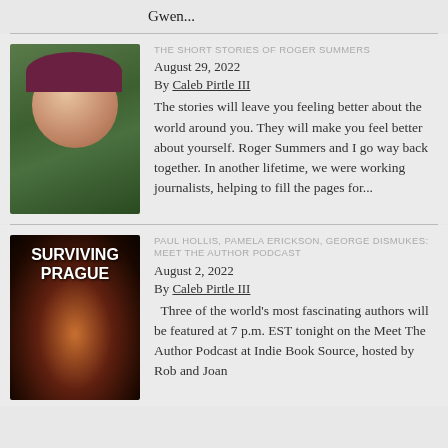Gwen...
[Figure (photo): Portrait photo of older man wearing a dark purple/maroon beret, smiling, outdoors with green foliage background]
THE SHORT STORIES OF ROGER SUMMERS
August 29, 2022
By Caleb Pirtle III
The stories will leave you feeling better about the world around you. They will make you feel better about yourself. Roger Summers and I go way back together. In another lifetime, we were working journalists, helping to fill the pages for...
[Figure (photo): Book cover for 'Surviving Prague' showing dark atmospheric alley scene with warm golden light and a shadowy figure]
PAUL HOLLIS, PAMELA ERICKSON, GEORGE DISMUKES: MEET THE AUTHOR PODCAST
August 2, 2022
By Caleb Pirtle III
Three of the world's most fascinating authors will be featured at 7 p.m. EST tonight on the Meet The Author Podcast at Indie Book Source, hosted by Rob and Joan